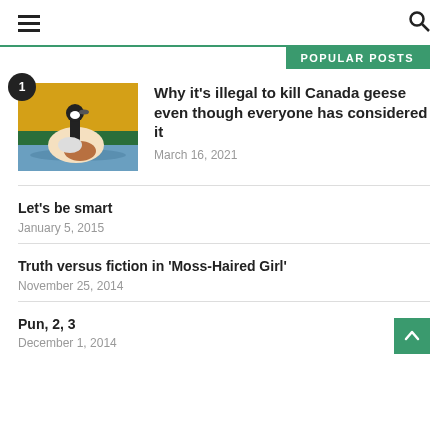Navigation header with hamburger menu and search icon
POPULAR POSTS
[Figure (illustration): Stylized illustration of a Canada goose floating on water with yellow, green, and blue background, numbered badge '1']
Why it’s illegal to kill Canada geese even though everyone has considered it
March 16, 2021
Let’s be smart
January 5, 2015
Truth versus fiction in ‘Moss-Haired Girl’
November 25, 2014
Pun, 2, 3
December 1, 2014